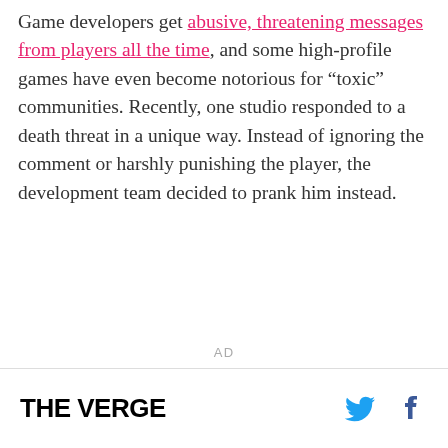Game developers get abusive, threatening messages from players all the time, and some high-profile games have even become notorious for “toxic” communities. Recently, one studio responded to a death threat in a unique way. Instead of ignoring the comment or harshly punishing the player, the development team decided to prank him instead.
AD
THE VERGE